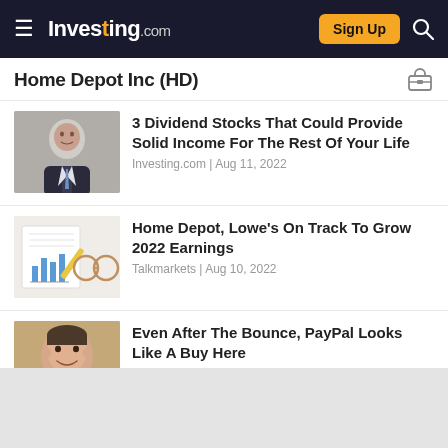Investing.com | Sign Up | Search
Home Depot Inc (HD)
3 Dividend Stocks That Could Provide Solid Income For The Rest Of Your Life
Investing.com | Aug 11, 2022
Home Depot, Lowe's On Track To Grow 2022 Earnings
Talkmarkets | Aug 10, 2022
Even After The Bounce, PayPal Looks Like A Buy Here
Vincent Martin | Aug 09, 2022